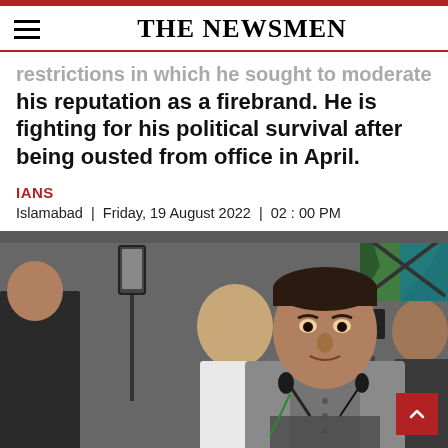THE NEWSMEN
restrictions in which he sought to moderate his reputation as a firebrand. He is fighting for his political survival after being ousted from office in April.
IANS
Islamabad | Friday, 19 August 2022 | 02 : 00 PM
[Figure (photo): A man in a grey vest speaking at a podium with microphones, with people including a cameraman visible in the background.]